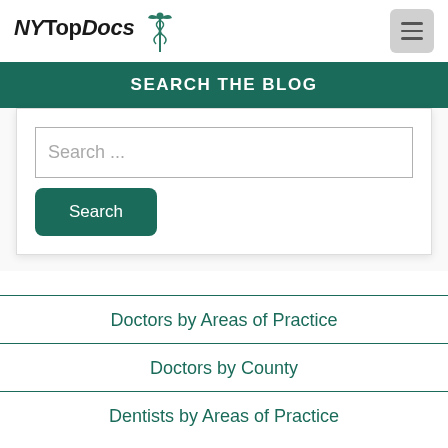NYTopDocs
SEARCH THE BLOG
Search ...
Search
Doctors by Areas of Practice
Doctors by County
Dentists by Areas of Practice